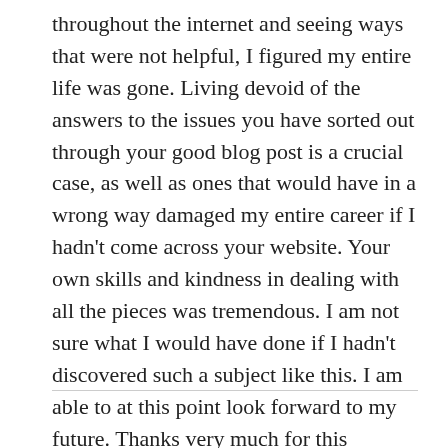throughout the internet and seeing ways that were not helpful, I figured my entire life was gone. Living devoid of the answers to the issues you have sorted out through your good blog post is a crucial case, as well as ones that would have in a wrong way damaged my entire career if I hadn't come across your website. Your own skills and kindness in dealing with all the pieces was tremendous. I am not sure what I would have done if I hadn't discovered such a subject like this. I am able to at this point look forward to my future. Thanks very much for this impressive and results-oriented help. I will not be reluctant to suggest your web site to any individual who needs and wants support on this area.